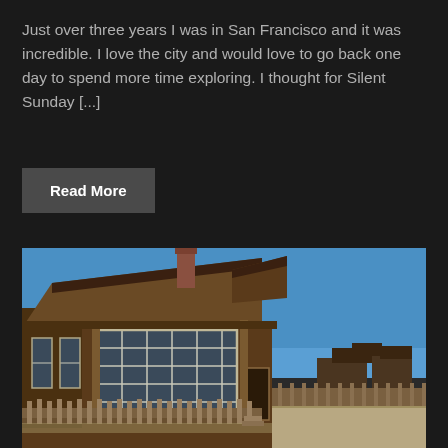Just over three years I was in San Francisco and it was incredible. I love the city and would love to go back one day to spend more time exploring. I thought for Silent Sunday [...]
Read More
[Figure (photo): Photograph of an old wooden building, likely a historic ghost town structure, with large multi-pane windows, a steep shingled roof, brick chimney, and a wooden picket fence in the foreground. Clear blue sky in the background.]